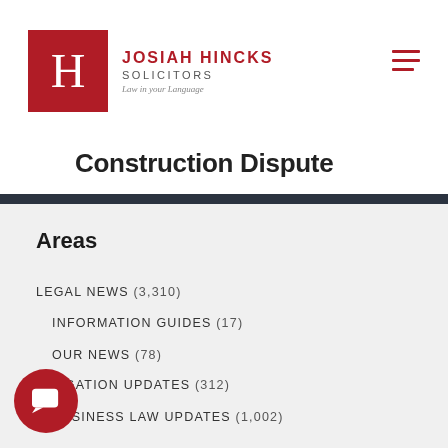[Figure (logo): Josiah Hincks Solicitors logo — red square with white H letterform, followed by firm name and tagline 'Law in your Language']
Construction Dispute
Areas
LEGAL NEWS (3,310)
INFORMATION GUIDES (17)
OUR NEWS (78)
LITIGATION UPDATES (312)
BUSINESS LAW UPDATES (1,002)